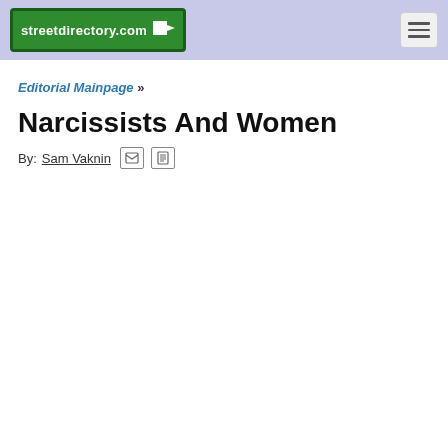streetdirectory.com
Editorial Mainpage »
Narcissists And Women
By: Sam Vaknin